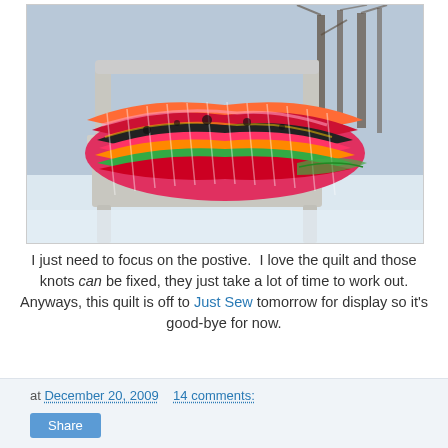[Figure (photo): A colorful patterned quilt folded and draped over a white wooden chair outdoors in a snowy winter scene with bare trees in the background.]
I just need to focus on the postive.  I love the quilt and those knots can be fixed, they just take a lot of time to work out.  Anyways, this quilt is off to Just Sew tomorrow for display so it's good-bye for now.
at December 20, 2009   14 comments:
Share